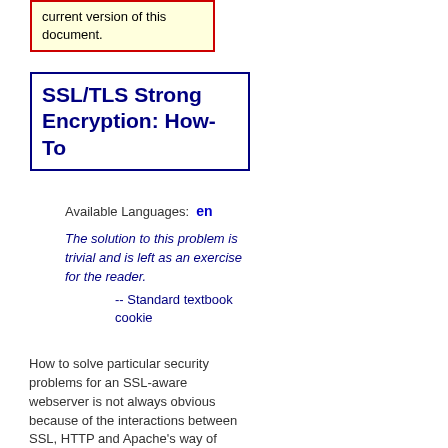current version of this document.
SSL/TLS Strong Encryption: How-To
Available Languages:  en
The solution to this problem is trivial and is left as an exercise for the reader.
-- Standard textbook cookie
How to solve particular security problems for an SSL-aware webserver is not always obvious because of the interactions between SSL, HTTP and Apache's way of